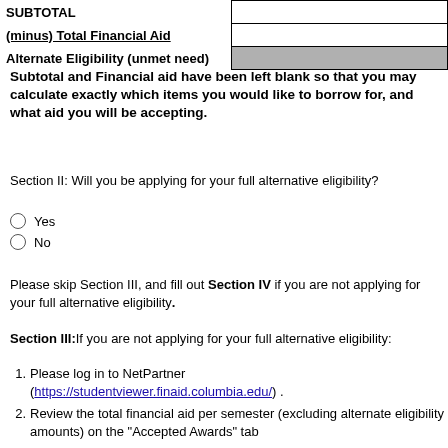|  |  |
| --- | --- |
| SUBTOTAL |  |
| (minus) Total Financial Aid |  |
| Alternate Eligibility (unmet need) |  |
Subtotal and Financial aid have been left blank so that you may calculate exactly which items you would like to borrow for, and what aid you will be accepting.
Section II: Will you be applying for your full alternative eligibility?
Yes
No
Please skip Section III, and fill out Section IV if you are not applying for your full alternative eligibility.
Section III: If you are not applying for your full alternative eligibility:
Please log in to NetPartner (https://studentviewer.finaid.columbia.edu/) .
Review the total financial aid per semester (excluding alternate eligibility amounts) on the “Accepted Awards” tab
Determine how much you will borrow in a private loan in